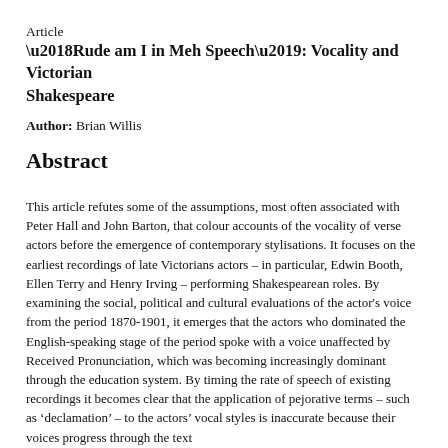Article
‘Rude am I in Meh Speech’: Vocality and Victorian Shakespeare
Author: Brian Willis
Abstract
This article refutes some of the assumptions, most often associated with Peter Hall and John Barton, that colour accounts of the vocality of verse actors before the emergence of contemporary stylisations. It focuses on the earliest recordings of late Victorians actors – in particular, Edwin Booth, Ellen Terry and Henry Irving – performing Shakespearean roles. By examining the social, political and cultural evaluations of the actor's voice from the period 1870-1901, it emerges that the actors who dominated the English-speaking stage of the period spoke with a voice unaffected by Received Pronunciation, which was becoming increasingly dominant through the education system. By timing the rate of speech of existing recordings it becomes clear that the application of pejorative terms – such as ‘declamation’ – to the actors’ vocal styles is inaccurate because their voices progress through the text